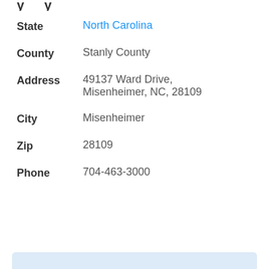State: North Carolina
County: Stanly County
Address: 49137 Ward Drive, Misenheimer, NC, 28109
City: Misenheimer
Zip: 28109
Phone: 704-463-3000